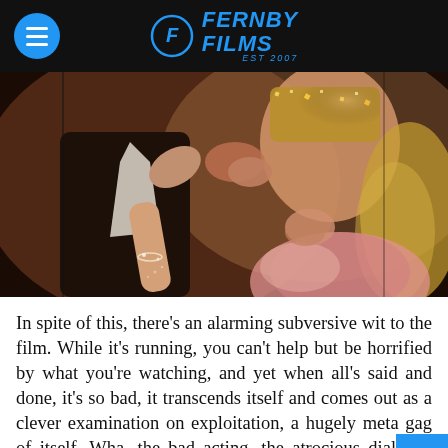Fernby Films
[Figure (photo): Two people kissing closely, woman wearing a glittery headpiece and a shimmery rose-gold outfit, man in dark suit, warm amber tones]
In spite of this, there's an alarming subversive wit to the film. While it's running, you can't help but be horrified by what you're watching, and yet when all's said and done, it's so bad, it transcends itself and comes out as a clever examination on exploitation, a hugely meta gag of itself. What the bad acting, the atrocious dialogue and the